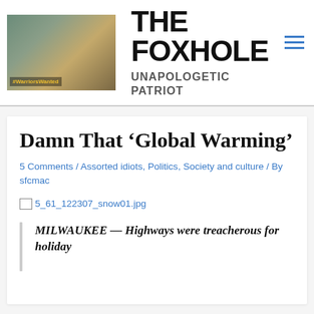[Figure (photo): Photo of soldiers in tactical gear with text '#WarriorsWanted' overlaid]
THE FOXHOLE
UNAPOLOGETIC PATRIOT
5 Comments / Assorted idiots, Politics, Society and culture / By sfcmac
Damn That ‘Global Warming’
[Figure (other): Broken image link: 5_61_122307_snow01.jpg]
MILWAUKEE — Highways were treacherous for holiday